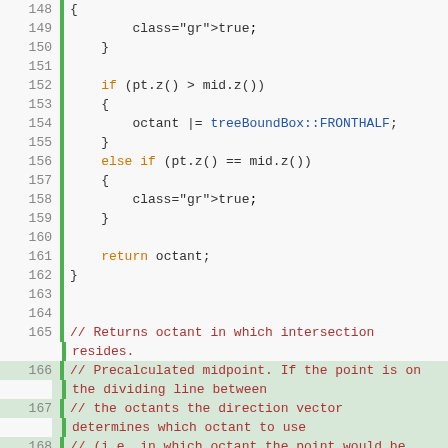Code listing lines 148-177, C++ source code for treeBoundBox subOctant function